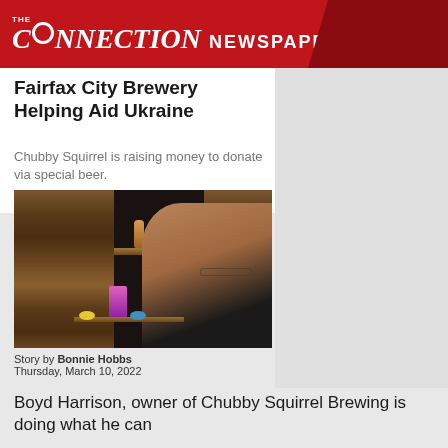THE CONNECTION NEWSPAPERS
Fairfax City Brewery Helping Aid Ukraine
Chubby Squirrel is raising money to donate via special beer.
[Figure (photo): Man holding a pink beer can and items on a wooden shelf, with squirrel figurines on a shelf in the background at Chubby Squirrel Brewing]
Story by Bonnie Hobbs
Thursday, March 10, 2022
Boyd Harrison, owner of Chubby Squirrel Brewing is doing what he can